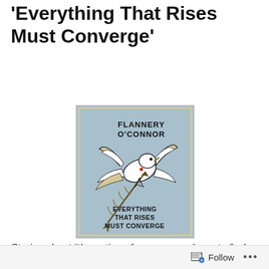'Everything That Rises Must Converge'
[Figure (illustration): Book cover of Flannery O'Connor's 'Everything That Rises Must Converge'. Light blue background with a stylized bird (dove) pierced by an arrow/wheat stalk, with the author name 'FLANNERY O'CONNOR' at top and the title 'EVERYTHING THAT RISES MUST CONVERGE' at the bottom.]
Stories about “the action of grace on a character” who
Follow ...